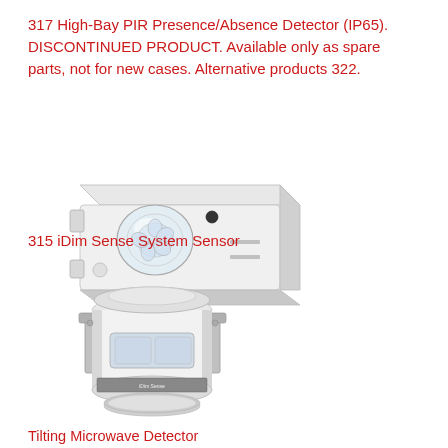317 High-Bay PIR Presence/Absence Detector (IP65). DISCONTINUED PRODUCT. Available only as spare parts, not for new cases. Alternative products 322.
[Figure (photo): White rectangular PIR presence/absence sensor device with clear dome lens and small circular port, viewed from the front-left side.]
315 iDim Sense System Sensor
[Figure (photo): White cylindrical tilt-mount microwave sensor with metal mounting bracket, viewed from slightly above.]
Tilting Microwave Detector